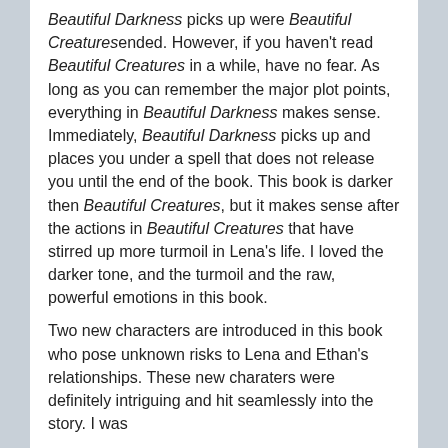Beautiful Darkness picks up were Beautiful Creaturesended. However, if you haven't read Beautiful Creatures in a while, have no fear. As long as you can remember the major plot points, everything in Beautiful Darkness makes sense. Immediately, Beautiful Darkness picks up and places you under a spell that does not release you until the end of the book. This book is darker then Beautiful Creatures, but it makes sense after the actions in Beautiful Creatures that have stirred up more turmoil in Lena's life. I loved the darker tone, and the turmoil and the raw, powerful emotions in this book.
Two new characters are introduced in this book who pose unknown risks to Lena and Ethan's relationships. These new charaters were definitely intriguing and hit seamlessly into the story. I was